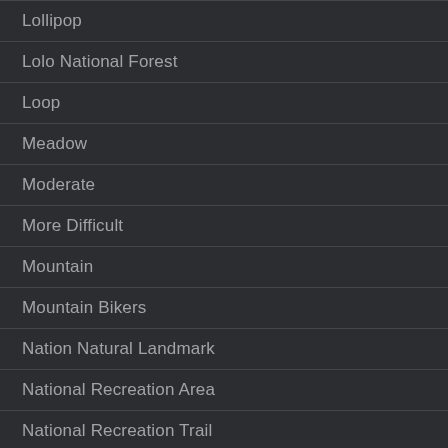Lollipop
Lolo National Forest
Loop
Meadow
Moderate
More Difficult
Mountain
Mountain Bikers
Nation Natural Landmark
National Recreation Area
National Recreation Trail